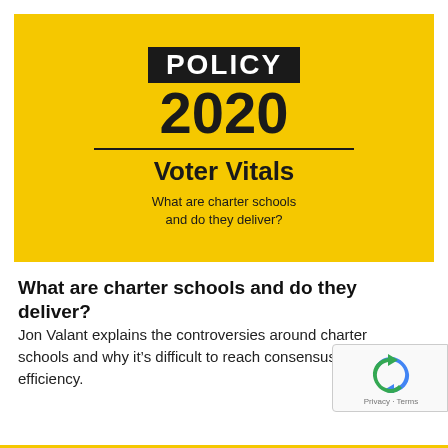[Figure (infographic): Yellow banner with POLICY 2020 Voter Vitals branding. Black box with white text 'POLICY', large black '2020', horizontal divider line, bold 'Voter Vitals', subtitle 'What are charter schools and do they deliver?']
What are charter schools and do they deliver?
Jon Valant explains the controversies around charter schools and why it’s difficult to reach consensus on their efficiency.